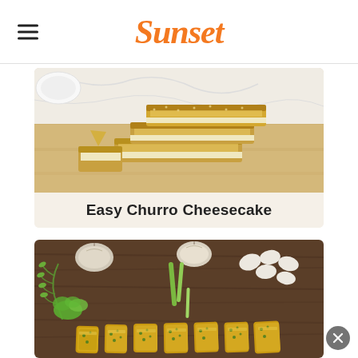Sunset
[Figure (photo): Stack of golden-brown churro cheesecake bars on a wooden cutting board]
Easy Churro Cheesecake
[Figure (photo): Garlic bread slices with herbs on a dark wooden board, surrounded by garlic bulbs and cloves and fresh herbs]